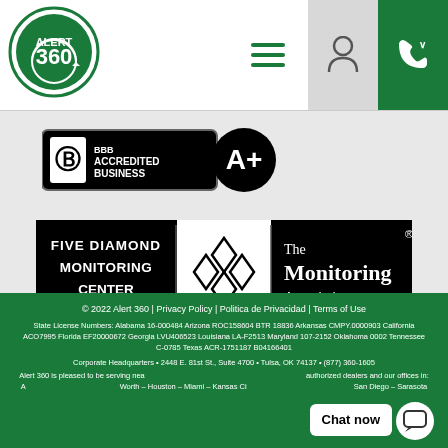[Figure (logo): Alert 360 circular logo in green and white]
[Figure (logo): BBB Accredited Business A+ badge]
[Figure (logo): Five Diamond Monitoring Center - The Monitoring Association badge]
[Figure (logo): Powered by Alarm.com logo]
© 2022 Alert 360 | Privacy Policy | Politica de Privacidad | Terms of Use
State License Numbers: Alabama 16-000484 Arizona ROC158604 BTR 18836 Arkansas CMPY.0000903 California ACO7995 Florida EF20000672 Georgia LVU406523 Louisiana LA-F2513 Maryland 107-2152 Oklahoma 0002 Tennessee C-0785 Texas ACR-1751187 B04166401
Corporate Headquarters • 2448 E. 81st St., Suite 4700 • Tulsa, OK 74137 • (877) 360-1605
Alert 360 is pleased to be serving nearly 200,000+ customers through our nation-wide authorized dealers and our offices in: Atlanta – Austin – Dallas/Fort Worth – Houston – Miami – Kansas City – Oklahoma City – Phoenix – San Diego – Sarasota